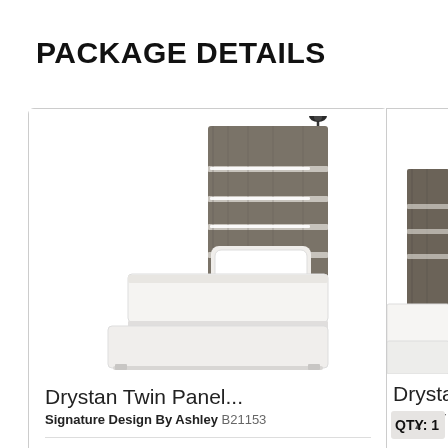PACKAGE DETAILS
[Figure (photo): Drystan Twin Panel bed with dark wood slatted headboard featuring a mounted reading lamp and LED strip lighting, white bedding and mattress, white bed frame/platform base]
Drystan Twin Panel...
Signature Design By Ashley B21153
QTY: 1
[Figure (photo): Partial view of another Drystan item, showing dark brown wood panel against white background (cropped/peeking from right edge)]
Drysta
Signatur
QTY: 1